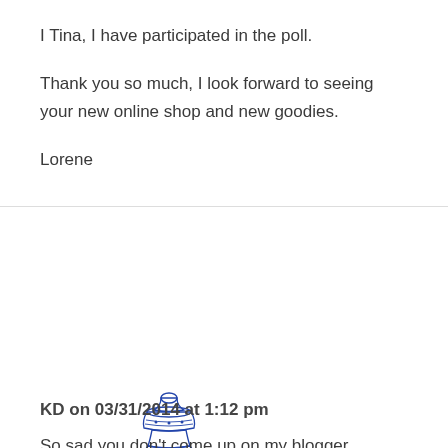I Tina, I have participated in the poll.

Thank you so much, I look forward to seeing your new online shop and new goodies.

Lorene
[Figure (illustration): A blue and white decorative Chinese-style porcelain vase with floral patterns and a lid]
KD on 03/31/2014 at 1:12 pm
So sad you don't come up on my blogger dashboard anymore, but thank goodness for email. Finished the poll and leaving it at KD...